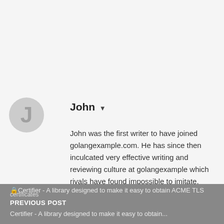John ▾
John was the first writer to have joined golangexample.com. He has since then inculcated very effective writing and reviewing culture at golangexample which rivals have found impossible to imitate.
🔒Certifier - A library designed to make it easy to obtain ACME TLS certificates
PREVIOUS POST
Certifier - A library designed to make it easy to obtain...